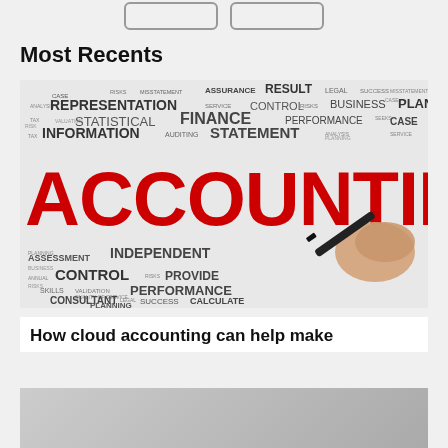Most Recents
[Figure (photo): Word cloud image centered on the large red word ACCOUNTING, with a hand holding a black marker pen. Surrounding words include: REPRESENTATION, RESULT, CONTROL, STATISTICAL, FINANCE, PERFORMANCE, STATEMENT, INFORMATION, AUDITING, ASSURANCE, LEGAL, SUCCESS, BUSINESS, PLANNING, CASE, ASSESSMENT, INDEPENDENT, PROVIDE, CONTROL, PERFORMANCE, CONSULTANT, PLANNING, VALIDATION, SKILLS, CALCULATE, SUCCESS, RISKS, TAX, PLANNING, CASE, SEEKS]
How cloud accounting can help make